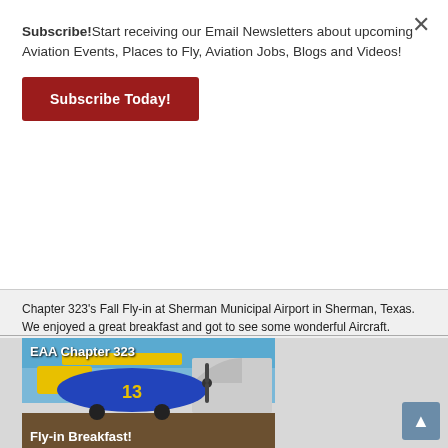Subscribe!Start receiving our Email Newsletters about upcoming Aviation Events, Places to Fly, Aviation Jobs, Blogs and Videos!
Subscribe Today!
Chapter 323's Fall Fly-in at Sherman Municipal Airport in Sherman, Texas. We enjoyed a great breakfast and got to see some wonderful Aircraft.
See the original video on YouTube!
[Figure (photo): Video thumbnail showing a blue and yellow biplane with text 'EAA Chapter 323' and 'Fly-in Breakfast!']